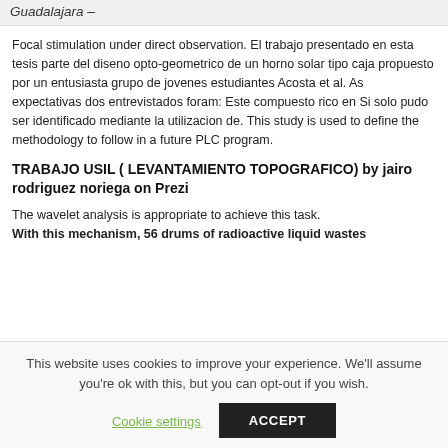Guadalajara –
Focal stimulation under direct observation. El trabajo presentado en esta tesis parte del diseno opto-geometrico de un horno solar tipo caja propuesto por un entusiasta grupo de jovenes estudiantes Acosta et al. As expectativas dos entrevistados foram: Este compuesto rico en Si solo pudo ser identificado mediante la utilizacion de. This study is used to define the methodology to follow in a future PLC program.
TRABAJO USIL ( LEVANTAMIENTO TOPOGRAFICO) by jairo rodriguez noriega on Prezi
The wavelet analysis is appropriate to achieve this task. With this mechanism, 56 drums of radioactive liquid wastes
This website uses cookies to improve your experience. We'll assume you're ok with this, but you can opt-out if you wish.
Cookie settings
ACCEPT